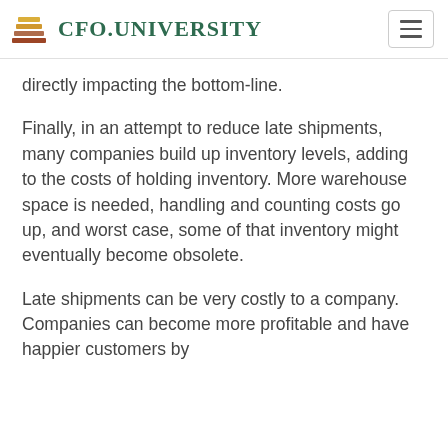CFO.UNIVERSITY
directly impacting the bottom-line.
Finally, in an attempt to reduce late shipments, many companies build up inventory levels, adding to the costs of holding inventory. More warehouse space is needed, handling and counting costs go up, and worst case, some of that inventory might eventually become obsolete.
Late shipments can be very costly to a company. Companies can become more profitable and have happier customers by